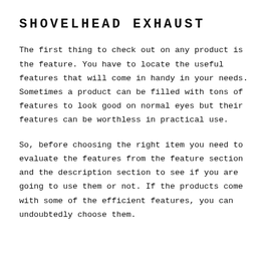SHOVELHEAD EXHAUST
The first thing to check out on any product is the feature. You have to locate the useful features that will come in handy in your needs. Sometimes a product can be filled with tons of features to look good on normal eyes but their features can be worthless in practical use.
So, before choosing the right item you need to evaluate the features from the feature section and the description section to see if you are going to use them or not. If the products come with some of the efficient features, you can undoubtedly choose them.